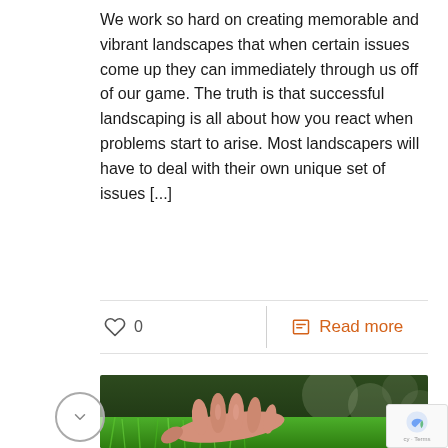We work so hard on creating memorable and vibrant landscapes that when certain issues come up they can immediately through us off of our game. The truth is that successful landscaping is all about how you react when problems start to arise. Most landscapers will have to deal with their own unique set of issues [...]
0
Read more
[Figure (photo): A human hand gently touching/resting on lush green grass, close-up shot with a blurred background of dark greenery.]